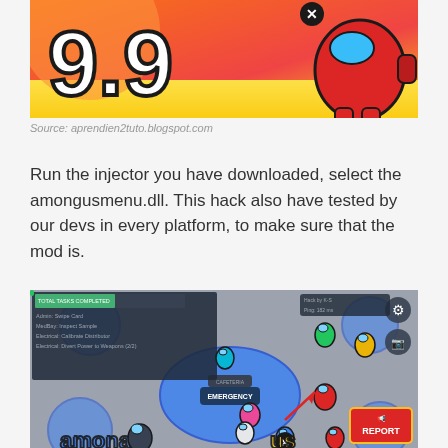[Figure (screenshot): Screenshot of a game rating showing '9.9' in large white text on an orange/yellow background with a red Among Us character on the right side.]
Source: aprendien2tuto.blogspot.com
Run the injector you have downloaded, select the amongusmenu.dll. This hack also have tested by our devs in every platform, to make sure that the mod is.
[Figure (screenshot): Screenshot of Among Us gameplay showing the map with colorful crewmates, a task list on the left, total tasks completed bar at top, and EMERGENCY meeting button in center. Various colored crewmates visible on the map.]